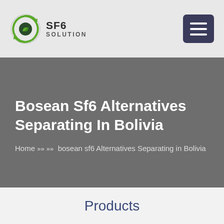SF6 SOLUTION
Bosean Sf6 Alternatives Separating In Bolivia
Home >> >> bosean sf6 Alternatives Separating in Bolivia
Products